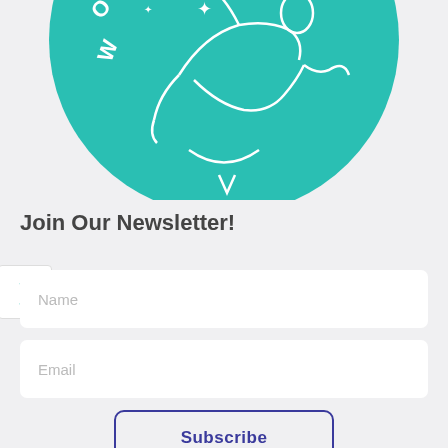[Figure (logo): Teal circular logo with a reclining female figure outlined in white, stars/sparkles, and text 'WOM' visible along the circle edge. Only the bottom half of the circle is visible as it is cropped at the top.]
Join Our Newsletter!
Name
Email
Subscribe